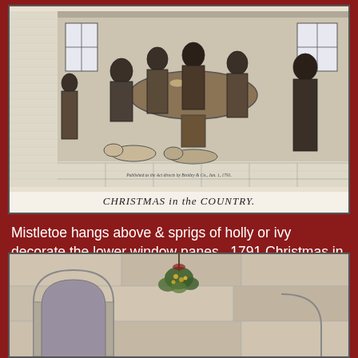[Figure (illustration): 1791 engraving titled 'Christmas in the Country' showing people feasting around a table, with dogs lying on the floor. Below the image text reads 'CHRISTMAS in the COUNTRY.' Published as the Act directs by Bentley & Co., Jan. 1791.]
CHRISTMAS in the COUNTRY.
Mistletoe hangs above & sprigs of holly or ivy decorate the lower window panes.  1791 Christmas in the Country, from drawing by Samuel Collings and pub Bentley & Co. in London, January 1, 1791.
[Figure (photo): Photograph of a stone archway or building exterior with a sprig of mistletoe or holly hanging from above, visible against a light stone wall.]